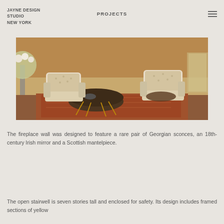JAYNE DESIGN STUDIO NEW YORK
PROJECTS
[Figure (photo): Interior room photo showing two cream upholstered tufted armchairs around a round brass and dark metal side table, with a floral rug and warm wood-paneled walls]
The fireplace wall was designed to feature a rare pair of Georgian sconces, an 18th-century Irish mirror and a Scottish mantelpiece.
The open stairwell is seven stories tall and enclosed for safety. Its design includes framed sections of yellow